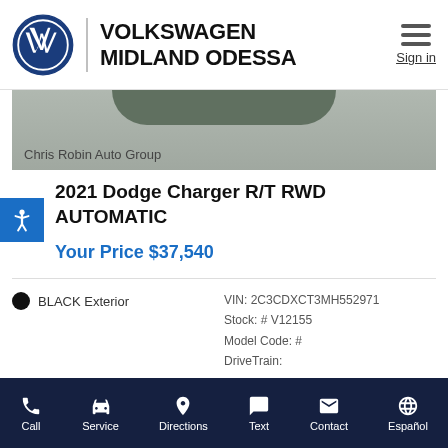VOLKSWAGEN MIDLAND ODESSA
[Figure (photo): Partial photo of a dark car with 'Chris Robin Auto Group' watermark]
2021 Dodge Charger R/T RWD AUTOMATIC
Your Price $37,540
BLACK Exterior
VIN: 2C3CDXCT3MH552971
Stock: # V12155
Model Code: #
DriveTrain:
Call  Service  Directions  Text  Contact  Español